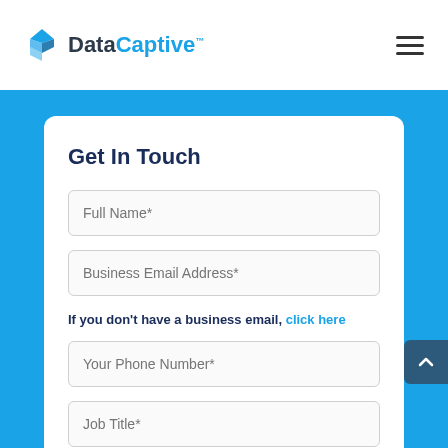DataCaptive™
Get In Touch
Full Name*
Business Email Address*
If you don't have a business email, click here
Your Phone Number*
Job Title*